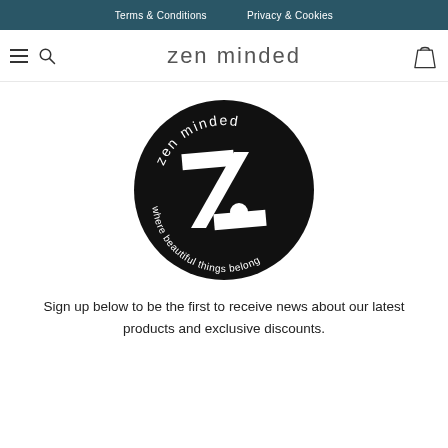Terms & Conditions   Privacy & Cookies
zen minded
[Figure (logo): Zen Minded circular logo on black background with a stylized Z/slash symbol and the text 'where beautiful things belong' around the bottom arc]
Sign up below to be the first to receive news about our latest products and exclusive discounts.